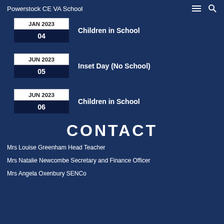Powerstock CE VA School
JAN 2023 / 04 — Children in School
JUN 2023 / 05 — Inset Day (No School)
JUN 2023 / 06 — Children in School
CONTACT
Mrs Louise Greenham Head Teacher
Mrs Natalie Newcombe Secretary and Finance Officer
Mrs Angela Oxenbury SENCo